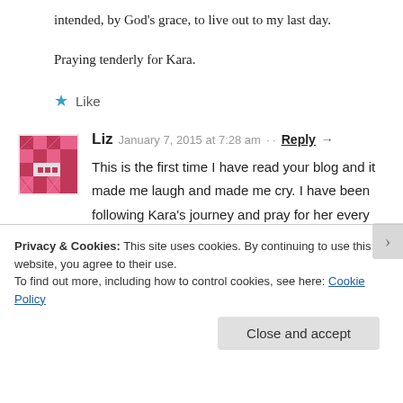intended, by God’s grace, to live out to my last day.
Praying tenderly for Kara.
★ Like
Liz   January 7, 2015 at 7:28 am · · Reply →
This is the first time I have read your blog and it made me laugh and made me cry. I have been following Kara’s journey and pray for her every day. She is truly a child of God and an inspiration to so very many. Jesus is shining down through our
Privacy & Cookies: This site uses cookies. By continuing to use this website, you agree to their use.
To find out more, including how to control cookies, see here: Cookie Policy
Close and accept